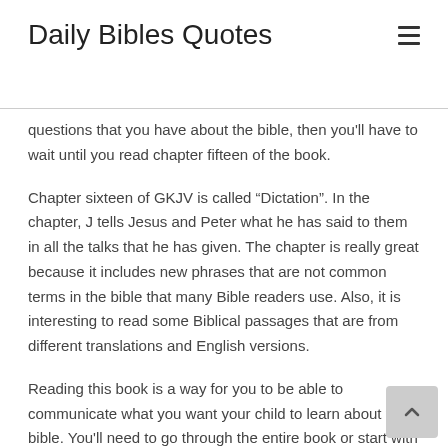Daily Bibles Quotes
questions that you have about the bible, then you'll have to wait until you read chapter fifteen of the book.
Chapter sixteen of GKJV is called “Dictation”. In the chapter, J tells Jesus and Peter what he has said to them in all the talks that he has given. The chapter is really great because it includes new phrases that are not common terms in the bible that many Bible readers use. Also, it is interesting to read some Biblical passages that are from different translations and English versions.
Reading this book is a way for you to be able to communicate what you want your child to learn about the bible. You’ll need to go through the entire book or start with the last chapter. Remember that the text book will be full of long drawn out